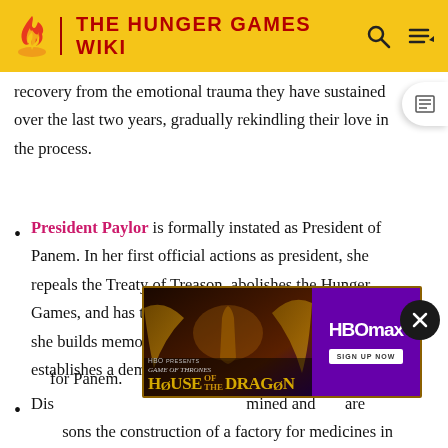THE HUNGER GAMES WIKI
recovery from the emotional trauma they have sustained over the last two years, gradually rekindling their love in the process.
President Paylor is formally instated as President of Panem. In her first official actions as president, she repeals the Treaty of Treason, abolishes the Hunger Games, and has the old arenas dismantled. In their place, she builds memorials to all the fallen tributes, and establishes a democratic republican government for Panem.
[Figure (screenshot): HBO Max advertisement for House of the Dragon (Game of Thrones spinoff) with gold and dragon imagery on left, purple HBO Max logo and Sign Up Now button on right]
District [obscured by ad] ...mined and [...] her are [...] onsors the construction of a factory for medicines in District